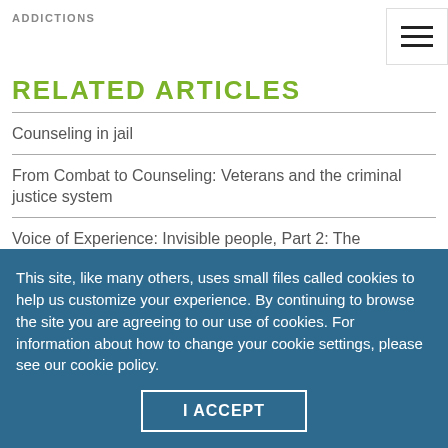ADDICTIONS
RELATED ARTICLES
Counseling in jail
From Combat to Counseling: Veterans and the criminal justice system
Voice of Experience: Invisible people, Part 2: The incarcerated
Containment in restraints
The fragility of freedom
This site, like many others, uses small files called cookies to help us customize your experience. By continuing to browse the site you are agreeing to our use of cookies. For information about how to change your cookie settings, please see our cookie policy.
I ACCEPT